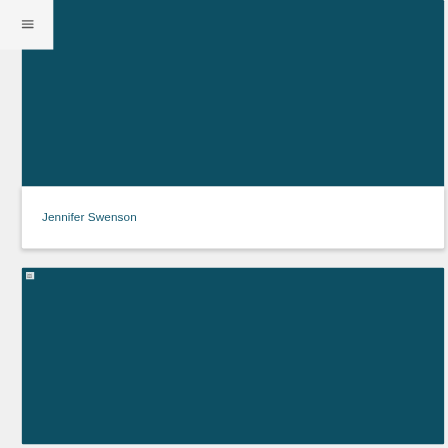[Figure (photo): Dark teal/blue-green rectangular image block at top of page]
Jennifer Swenson
[Figure (photo): Dark teal/blue-green rectangular image block at bottom of page with broken image icon in top-left corner]